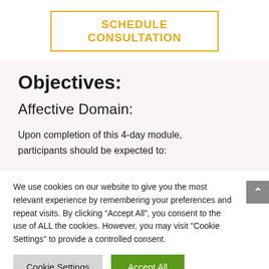SCHEDULE CONSULTATION
Objectives:
Affective Domain:
Upon completion of this 4-day module, participants should be expected to:
We use cookies on our website to give you the most relevant experience by remembering your preferences and repeat visits. By clicking “Accept All”, you consent to the use of ALL the cookies. However, you may visit "Cookie Settings" to provide a controlled consent.